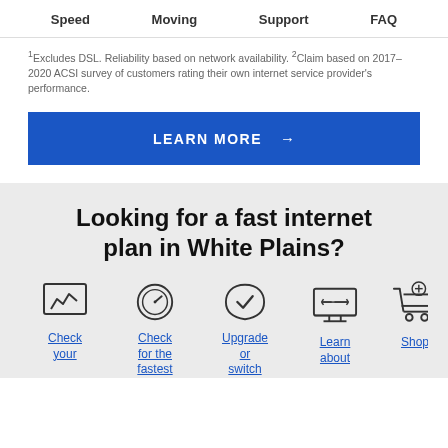Speed   Moving   Support   FAQ
¹Excludes DSL. Reliability based on network availability. ²Claim based on 2017–2020 ACSI survey of customers rating their own internet service provider's performance.
LEARN MORE →
Looking for a fast internet plan in White Plains?
Check your
Check for the fastest
Upgrade or switch
Learn about
Shop